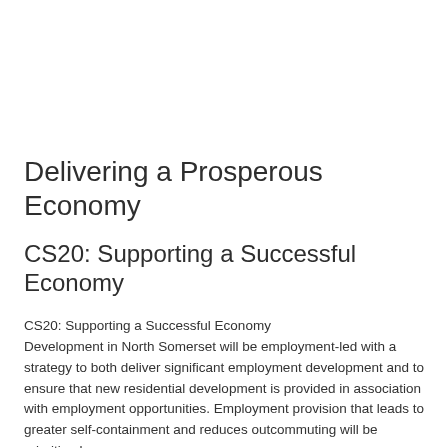Delivering a Prosperous Economy
CS20: Supporting a Successful Economy
CS20: Supporting a Successful Economy
Development in North Somerset will be employment-led with a strategy to both deliver significant employment development and to ensure that new residential development is provided in association with employment opportunities. Employment provision that leads to greater self-containment and reduces outcommuting will be prioritised.